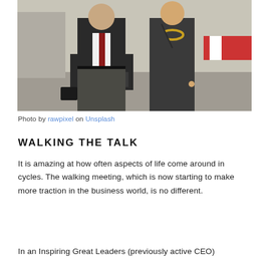[Figure (photo): Two business professionals (a man in a dark suit with red tie carrying a briefcase, and a woman in a dark suit with gold necklace) walking side by side outdoors.]
Photo by rawpixel on Unsplash
WALKING THE TALK
It is amazing at how often aspects of life come around in cycles. The walking meeting, which is now starting to make more traction in the business world, is no different.
In an Inspiring Great Leaders (previously active CEO)